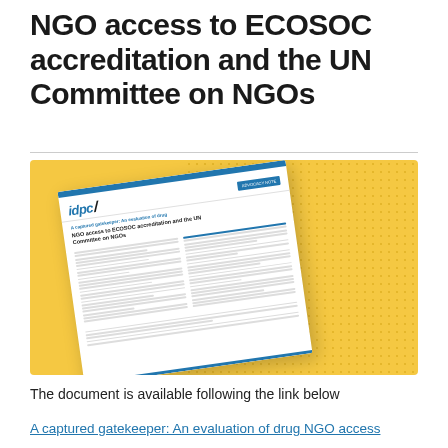NGO access to ECOSOC accreditation and the UN Committee on NGOs
[Figure (photo): Photo of an IDPC advocacy note document titled 'A captured gatekeeper: An evaluation of drug NGO access to ECOSOC accreditation and the UN Committee on NGOs', shown at an angle on a yellow/gold background with a dotted pattern overlay.]
The document is available following the link below
A captured gatekeeper: An evaluation of drug NGO access